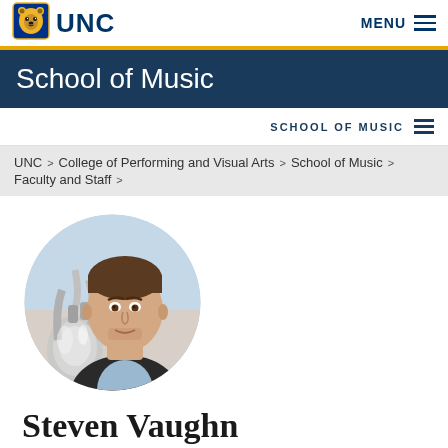[Figure (logo): UNC bear logo and UNC text wordmark]
MENU
School of Music
SCHOOL OF MUSIC
UNC > College of Performing and Visual Arts > School of Music > Faculty and Staff >
[Figure (photo): Circular professional portrait of Steven Vaughn holding a tuba instrument, wearing a dark blazer and light blue shirt]
Steven Vaughn